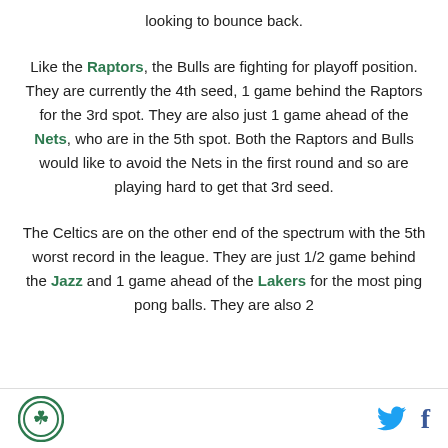looking to bounce back.
Like the Raptors, the Bulls are fighting for playoff position. They are currently the 4th seed, 1 game behind the Raptors for the 3rd spot. They are also just 1 game ahead of the Nets, who are in the 5th spot. Both the Raptors and Bulls would like to avoid the Nets in the first round and so are playing hard to get that 3rd seed.
The Celtics are on the other end of the spectrum with the 5th worst record in the league. They are just 1/2 game behind the Jazz and 1 game ahead of the Lakers for the most ping pong balls. They are also 2